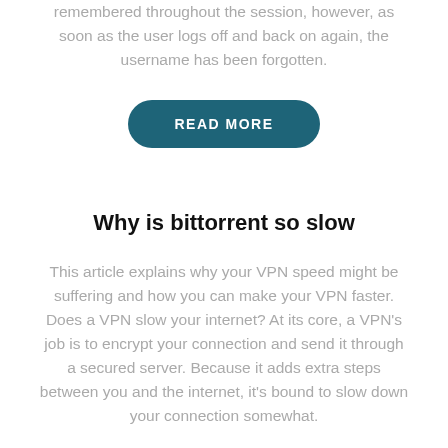Remember my username. The username will be remembered throughout the session, however, as soon as the user logs off and back on again, the username has been forgotten.
[Figure (other): READ MORE button — a rounded rectangular button with dark teal background and white uppercase bold text]
Why is bittorrent so slow
This article explains why your VPN speed might be suffering and how you can make your VPN faster. Does a VPN slow your internet? At its core, a VPN's job is to encrypt your connection and send it through a secured server. Because it adds extra steps between you and the internet, it's bound to slow down your connection somewhat.